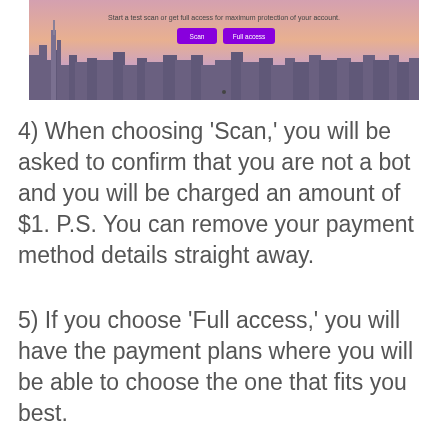[Figure (screenshot): Screenshot of a web interface showing a city skyline background with a gradient sky (pink/orange/purple). Text reads 'Start a test scan or get full access for maximum protection of your account.' Two purple buttons labeled 'Scan' and 'Full access' are visible.]
4) When choosing 'Scan,' you will be asked to confirm that you are not a bot and you will be charged an amount of $1. P.S. You can remove your payment method details straight away.
5) If you choose 'Full access,' you will have the payment plans where you will be able to choose the one that fits you best.